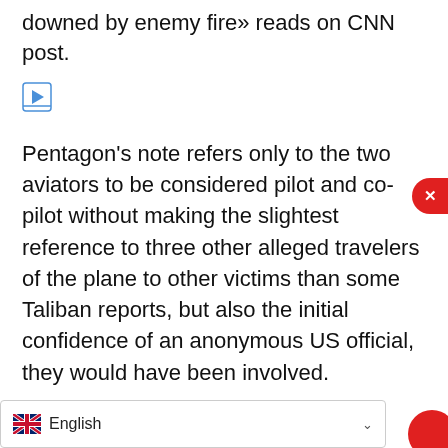downed by enemy fire» reads on CNN post.
[Figure (other): Small advertisement icon (play/ad button in blue)]
Pentagon's note refers only to the two aviators to be considered pilot and co-pilot without making the slightest reference to three other alleged travelers of the plane to other victims than some Taliban reports, but also the initial confidence of an anonymous US official, they would have been involved.
[Figure (other): Dropdown chevron box UI element]
[Figure (photo): Photo of aloe vera leaves and a glass cup on wooden surface]
Grasso addio: ecco come dimagrire subito
Dimagrimento rapido
[Figure (other): English language selector with UK flag]